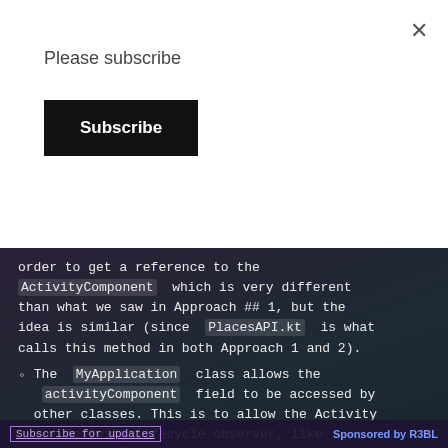Please subscribe
Subscribe
order to get a reference to the ActivityComponent which is very different than what we saw in Approach ## 1, but the idea is similar (since PlacesAPI.kt is what calls this method in both Approach 1 and 2).
The MyApplication class allows the activityComponent field to be accessed by other classes. This is to allow the Activity (or Activity lifecycle observer, like PlacesAPI.kt ) that creates this subcomponent, to be able to destroy it later. Also if this field activityComponent is null, this means that this object hasn't
Subscribe for updates    Sponsored by R3BL